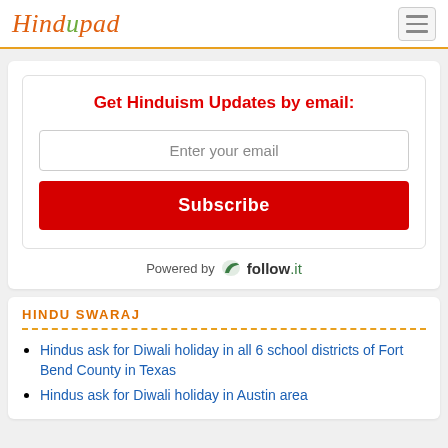Hindupad
Get Hinduism Updates by email:
Enter your email
Subscribe
Powered by follow.it
HINDU SWARAJ
Hindus ask for Diwali holiday in all 6 school districts of Fort Bend County in Texas
Hindus ask for Diwali holiday in Austin area